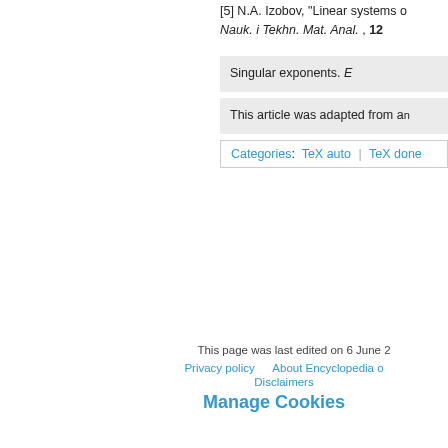[5] N.A. Izobov, "Linear systems o... Nauk. i Tekhn. Mat. Anal. , 12...
Singular exponents. E...
This article was adapted from an...
Categories: TeX auto | TeX done...
This page was last edited on 6 June 2...
Privacy policy   About Encyclopedia o...
Disclaimers
Manage Cookies